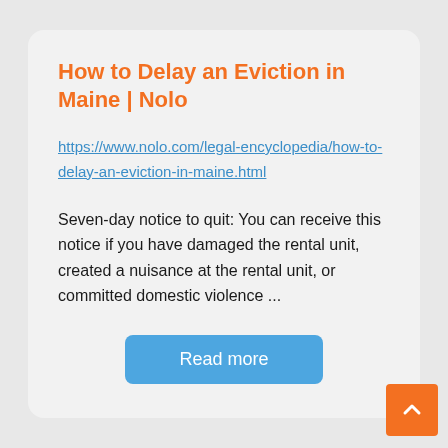How to Delay an Eviction in Maine | Nolo
https://www.nolo.com/legal-encyclopedia/how-to-delay-an-eviction-in-maine.html
Seven-day notice to quit: You can receive this notice if you have damaged the rental unit, created a nuisance at the rental unit, or committed domestic violence ...
Read more